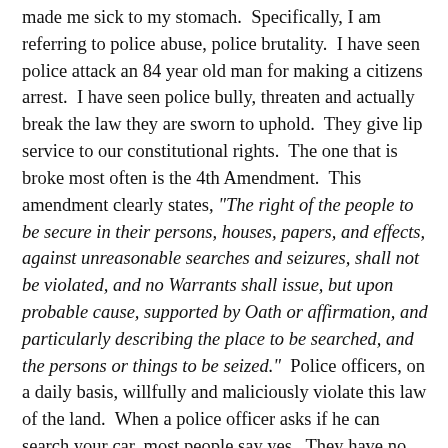made me sick to my stomach.  Specifically, I am referring to police abuse, police brutality.  I have seen police attack an 84 year old man for making a citizens arrest.  I have seen police bully, threaten and actually break the law they are sworn to uphold.  They give lip service to our constitutional rights.  The one that is broke most often is the 4th Amendment.  This amendment clearly states, "The right of the people to be secure in their persons, houses, papers, and effects, against unreasonable searches and seizures, shall not be violated, and no Warrants shall issue, but upon probable cause, supported by Oath or affirmation, and particularly describing the place to be searched, and the persons or things to be seized."  Police officers, on a daily basis, willfully and maliciously violate this law of the land.  When a police officer asks if he can search your car, most people say yes.  They have no right, none, to search your car without you waiving your 4th Amendment right.  In some videos, officers have been caught planting evidence in an effort to arrest someone who is quite possibly innocent.  Do yourself a favor and go to YouTube.  You will be shocked, I promise you.  I have learned a lot over the past two weeks of what is taking place in this country.